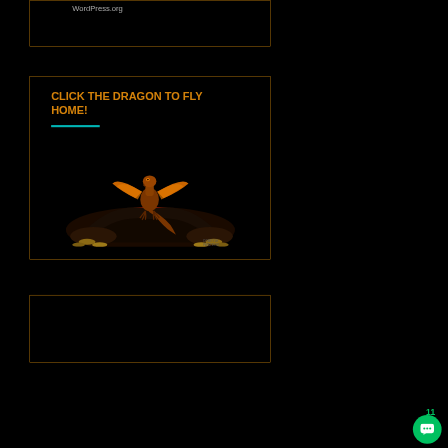WordPress.org
CLICK THE DRAGON TO FLY HOME!
[Figure (illustration): A fantasy dragon perched on a dark rocky mound with glowing lava/fire beneath, wings spread, illustrated in orange and brown tones on black background.]
11